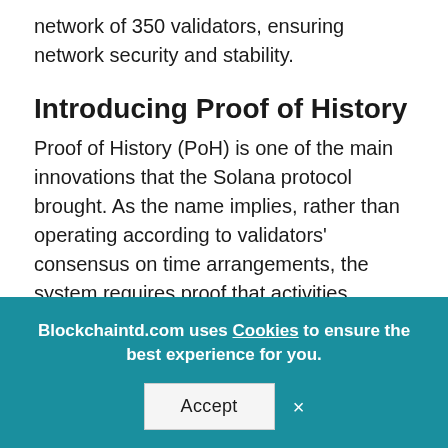network of 350 validators, ensuring network security and stability.
Introducing Proof of History
Proof of History (PoH) is one of the main innovations that the Solana protocol brought. As the name implies, rather than operating according to validators' consensus on time arrangements, the system requires proof that activities happened.
In contrast to Proof of Work and Proof of Stake mechanisms, PoH requires each Solana validator to
Blockchaintd.com uses Cookies to ensure the best experience for you.